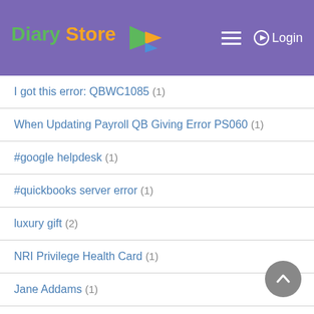Diary Store Login
I got this error: QBWC1085 (1)
When Updating Payroll QB Giving Error PS060 (1)
#google helpdesk (1)
#quickbooks server error (1)
luxury gift (2)
NRI Privilege Health Card (1)
Jane Addams (1)
#quickbooks payroll error (2)
cantilever shelving systems (1)
destination wedding (1)
QBDBMgrN keeps stopping (1)
Mini Led Flood Light Houston TX (7)